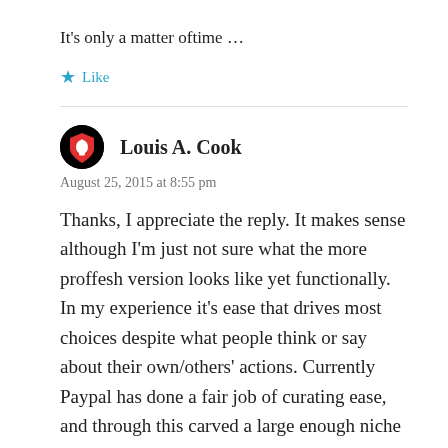It's only a matter oftime …
★ Like
Louis A. Cook
August 25, 2015 at 8:55 pm
Thanks, I appreciate the reply. It makes sense although I'm just not sure what the more proffesh version looks like yet functionally. In my experience it's ease that drives most choices despite what people think or say about their own/others' actions. Currently Paypal has done a fair job of curating ease, and through this carved a large enough niche